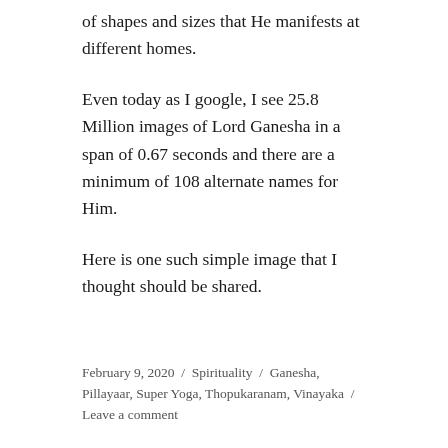of shapes and sizes that He manifests at different homes.
Even today as I google, I see 25.8 Million images of Lord Ganesha in a span of 0.67 seconds and there are a minimum of 108 alternate names for Him.
Here is one such simple image that I thought should be shared.
February 9, 2020  /  Spirituality  /  Ganesha, Pillayaar, Super Yoga, Thopukaranam, Vinayaka  /  Leave a comment